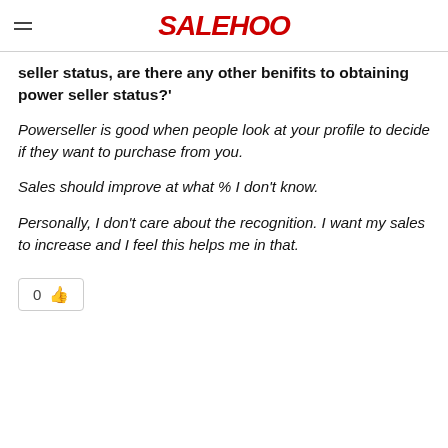SALEHOO
seller status, are there any other benifits to obtaining power seller status?'
Powerseller is good when people look at your profile to decide if they want to purchase from you.
Sales should improve at what % I don't know.
Personally, I don't care about the recognition. I want my sales to increase and I feel this helps me in that.